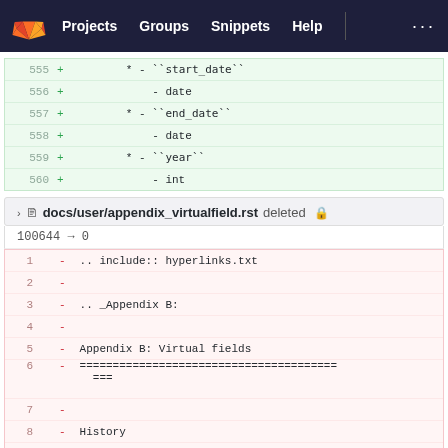Projects  Groups  Snippets  Help  ...
| line | op | code |
| --- | --- | --- |
| 555 | + |         * - ``start_date`` |
| 556 | + |             - date |
| 557 | + |         * - ``end_date`` |
| 558 | + |             - date |
| 559 | + |         * - ``year`` |
| 560 | + |             - int |
docs/user/appendix_virtualfield.rst deleted
100644 → 0
| line | op | code |
| --- | --- | --- |
| 1 |  | - .. include:: hyperlinks.txt |
| 2 |  | - |
| 3 |  | - .. _Appendix B: |
| 4 |  | - |
| 5 |  | - Appendix B: Virtual fields |
| 6 |  | - =======================================
=== |
| 7 |  | - |
| 8 |  | - History |
| 9 |  | - ------- |